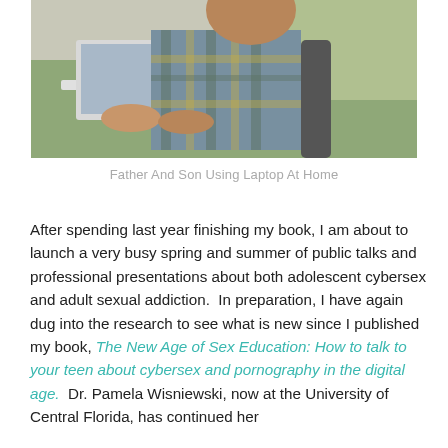[Figure (photo): A young boy using a laptop computer, seated, wearing a plaid shirt, with an adult partially visible beside him.]
Father And Son Using Laptop At Home
After spending last year finishing my book, I am about to launch a very busy spring and summer of public talks and professional presentations about both adolescent cybersex and adult sexual addiction.  In preparation, I have again dug into the research to see what is new since I published my book, The New Age of Sex Education: How to talk to your teen about cybersex and pornography in the digital age.  Dr. Pamela Wisniewski, now at the University of Central Florida, has continued her